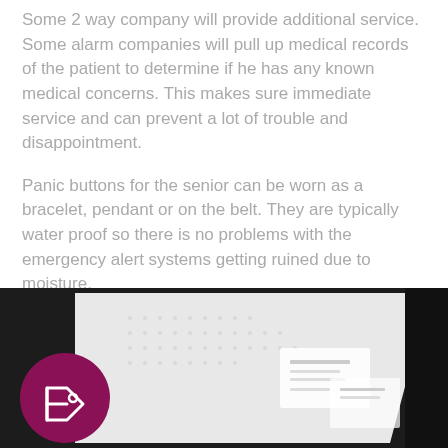Some 2 way company will provide additional service. Some alarm companies will pull up medical records of the patient to determine if he has any known medical concerns. This makes sure immediate service and can prevent a lot of trouble and disappointment.
Panic buttons for the senior can be worn as a bracelet, pendant or on the belt. They are typically water proof so there is no problems with the emergency alert systems getting ruined due to moisture.
[Figure (photo): Bottom portion of image showing a dark background with a dotted/textured white diagonal area and a small form/card visible. A magenta/purple circle with a price tag icon overlays the bottom left.]